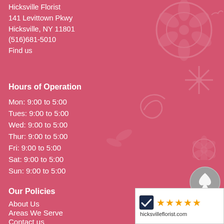Hicksville Florist
141 Levittown Pkwy
Hicksville, NY 11801
(516)681-5010
Find us
Hours of Operation
Mon: 9:00 to 5:00
Tues: 9:00 to 5:00
Wed: 9:00 to 5:00
Thur: 9:00 to 5:00
Fri: 9:00 to 5:00
Sat: 9:00 to 5:00
Sun: 9:00 to 5:00
Our Policies
About Us
Areas We Serve
Contact us
Corporate Accounts
[Figure (logo): 5-star rating badge for hicksvilleflorist.com with a Shopper Approved checkmark logo and five orange stars]